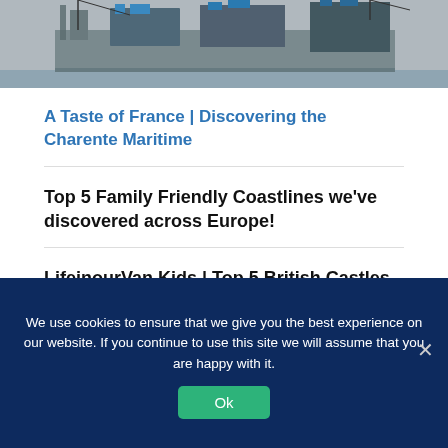[Figure (photo): Industrial offshore platform or industrial facility with cranes and structures, with water in background, partially cropped at top]
A Taste of France | Discovering the Charente Maritime
Top 5 Family Friendly Coastlines we've discovered across Europe!
LifeinourVan Kids | Top 5 British Castles
We use cookies to ensure that we give you the best experience on our website. If you continue to use this site we will assume that you are happy with it.